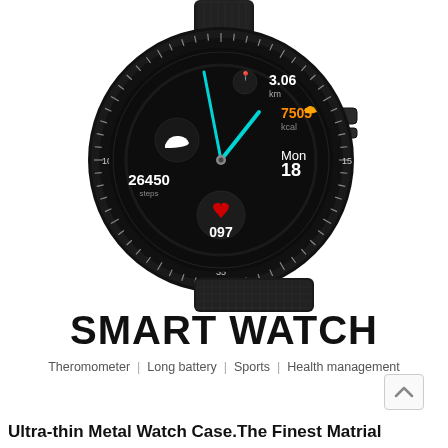[Figure (photo): A black smartwatch with a round face displaying fitness data (3.06 km, 7505 kcal, 26450 steps, 097 heart rate, Mon 18) on a black dial with teal hands, dark metal bezel with minute markers, and a black mesh metal band.]
SMART WATCH
Theromometer | Long battery | Sports | Health management
Ultra-thin Metal Watch Case.The Finest Matrial